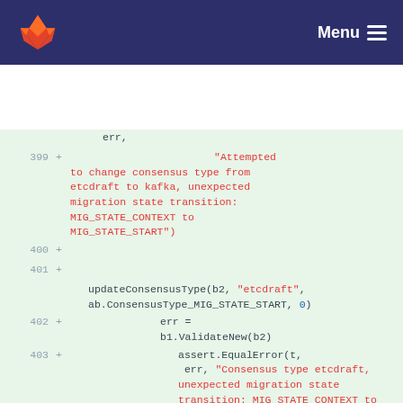GitLab Menu
[Figure (screenshot): GitLab code diff view showing lines 399-405 of a Go test file with added lines containing error messages about consensus type migration state transitions from MIG_STATE_CONTEXT to MIG_STATE_START]